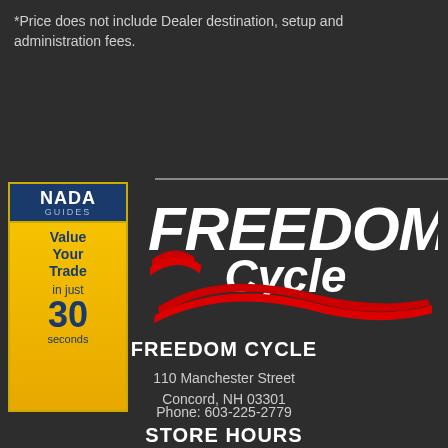*Price does not include Dealer destination, setup and administration fees.
[Figure (logo): NADA Guides 'Value Your Trade in just 30 seconds' badge with blue top section and gold/yellow bottom section]
[Figure (logo): Freedom Cycle dealership logo with stylized text FREEDOM Cycle in white and red swoosh graphic on dark background]
FREEDOM CYCLE
110 Manchester Street
Concord, NH 03301
Phone: 603-225-2779
STORE HOURS